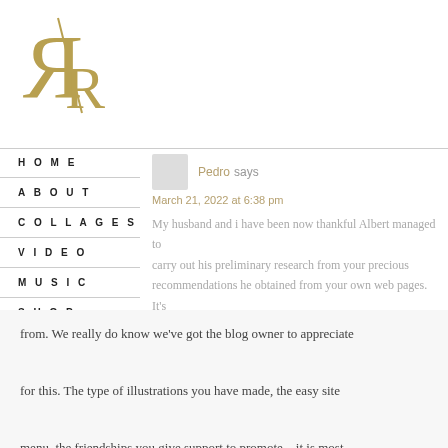[Figure (logo): Stylized R/R logo in gold/olive color]
HOME
ABOUT
COLLAGES
VIDEO
MUSIC
SHOP
CONTACT
Pedro says
March 21, 2022 at 6:38 pm
My husband and i have been now thankful Albert managed to carry out his preliminary research from your precious recommendations he obtained from your own web pages. It's not at all simplistic to just continually be giving away instructions which often people could have been making money from. We really do know we've got the blog owner to appreciate for this. The type of illustrations you have made, the easy site menu, the friendships you give support to promote – it is most